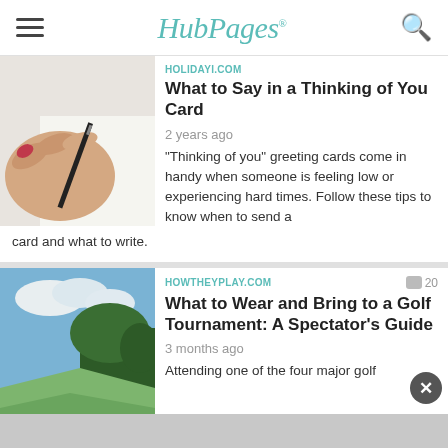HubPages
HOLIDAYI.COM
What to Say in a Thinking of You Card
2 years ago
"Thinking of you" greeting cards come in handy when someone is feeling low or experiencing hard times. Follow these tips to know when to send a card and what to write.
HOWTHEYPLAY.COM
What to Wear and Bring to a Golf Tournament: A Spectator's Guide
3 months ago
Attending one of the four major golf